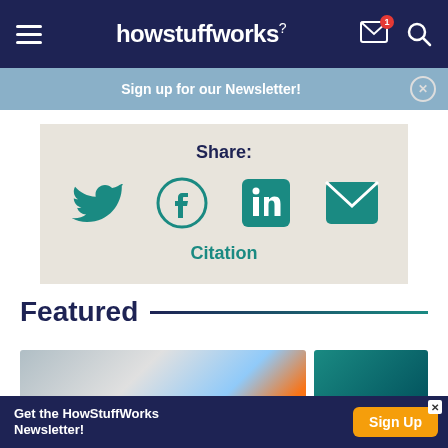howstuffworks
Sign up for our Newsletter!
Share:
[Figure (infographic): Social share icons: Twitter, Facebook, LinkedIn, Email]
Citation
Featured
[Figure (photo): Two featured article thumbnail images side by side]
Get the HowStuffWorks Newsletter! Sign Up